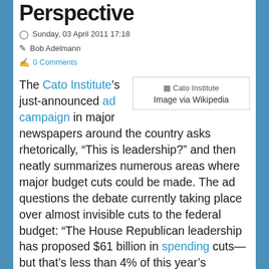Perspective
Sunday, 03 April 2011 17:18
Bob Adelmann
0 Comments
[Figure (other): Cato Institute image via Wikipedia — broken image placeholder with text 'Cato Institute' and 'Image via Wikipedia']
The Cato Institute's just-announced ad campaign in major newspapers around the country asks rhetorically, "This is leadership?" and then neatly summarizes numerous areas where major budget cuts could be made. The ad questions the debate currently taking place over almost invisible cuts to the federal budget: "The House Republican leadership has proposed $61 billion in spending cuts—but that's less than 4% of this year's massive $1.65 trillion federal deficit." And the Democrats have managed to squeeze out an